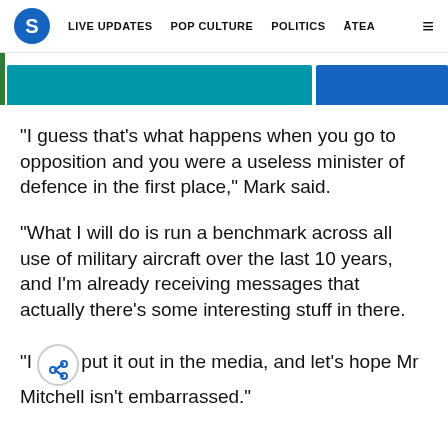S  LIVE UPDATES  POP CULTURE  POLITICS  ĀTEA  ≡
[Figure (screenshot): Partial banner image with teal and blue colored blocks on white background with green left border]
“I guess that’s what happens when you go to opposition and you were a useless minister of defence in the first place,” Mark said.
“What I will do is run a benchmark across all use of military aircraft over the last 10 years, and I’m already receiving messages that actually there’s some interesting stuff in there.
“I…put it out in the media, and let’s hope Mr Mitchell isn’t embarrassed.”